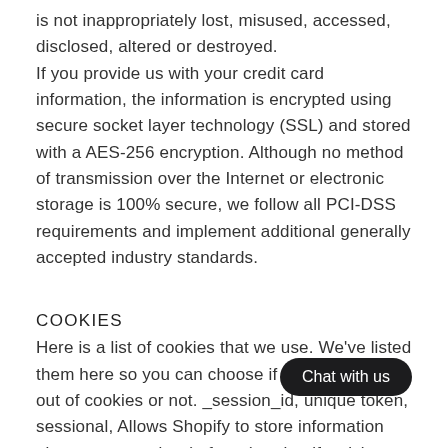is not inappropriately lost, misused, accessed, disclosed, altered or destroyed. If you provide us with your credit card information, the information is encrypted using secure socket layer technology (SSL) and stored with a AES-256 encryption. Although no method of transmission over the Internet or electronic storage is 100% secure, we follow all PCI-DSS requirements and implement additional generally accepted industry standards.
COOKIES
Here is a list of cookies that we use. We've listed them here so you can choose if you want to opt-out of cookies or not. _session_id, unique token, sessional, Allows Shopify to store information about your session (referrer). _shopify_visit, no data held, Persistent for 30 minutes from the last visit, Used by our website provider's internal stats